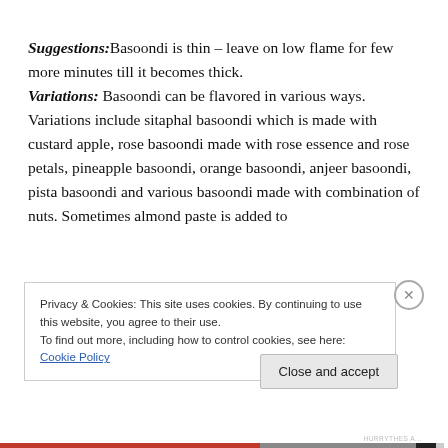Suggestions: Basoondi is thin – leave on low flame for few more minutes till it becomes thick. Variations: Basoondi can be flavored in various ways. Variations include sitaphal basoondi which is made with custard apple, rose basoondi made with rose essence and rose petals, pineapple basoondi, orange basoondi, anjeer basoondi, pista basoondi and various basoondi made with combination of nuts. Sometimes almond paste is added to
Privacy & Cookies: This site uses cookies. By continuing to use this website, you agree to their use. To find out more, including how to control cookies, see here: Cookie Policy
Close and accept